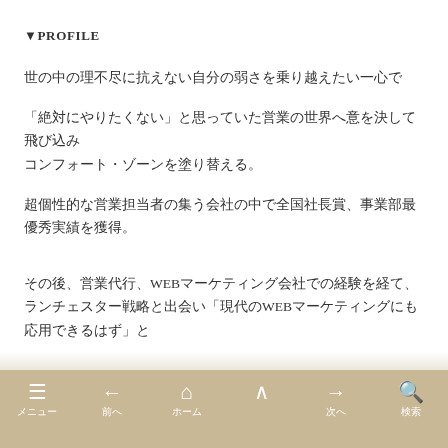▼PROFILE
世の中の理不尽に抗えない自分の弱さを乗り越えたい一心で
「絶対にやりたくない」と思っていた営業の世界へ意を決して飛び込み
コンフォート・ゾーンを塗り替える。
超個性的な営業担当者の集う会社の中で全国社長賞、事業部最優秀実績を獲得。
その後、営業代行、WEBマーケティング会社での経験を経て、ランチェスター戦略と出会い「現代のWEBマーケティングにも応用できるはず」と
メニュー　前へ　ホーム　　次へ　検索